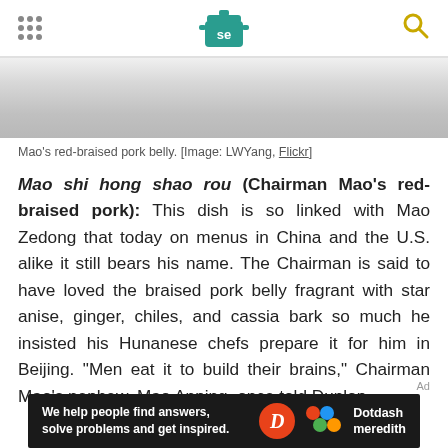Serious Eats header with logo and navigation
[Figure (photo): Close-up photo of Mao's red-braised pork belly dish, showing the braised meat in a light-colored bowl or dish, grayish-white tones]
Mao's red-braised pork belly. [Image: LWYang, Flickr]
Mao shi hong shao rou (Chairman Mao's red-braised pork): This dish is so linked with Mao Zedong that today on menus in China and the U.S. alike it still bears his name. The Chairman is said to have loved the braised pork belly fragrant with star anise, ginger, chiles, and cassia bark so much he insisted his Hunanese chefs prepare it for him in Beijing. "Men eat it to build their brains," Chairman Mao's nephew, Mao Anping, once told Dunlop.
[Figure (logo): Dotdash Meredith advertisement banner: 'We help people find answers, solve problems and get inspired.' with Dotdash Meredith logo]